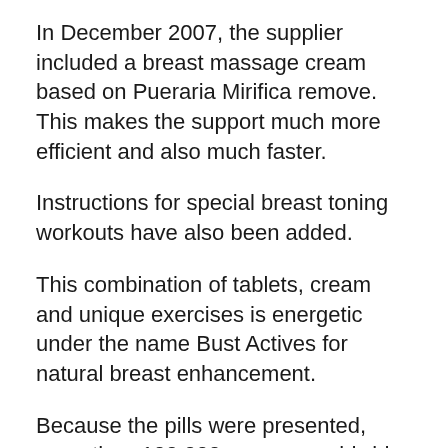In December 2007, the supplier included a breast massage cream based on Pueraria Mirifica remove. This makes the support much more efficient and also much faster.
Instructions for special breast toning workouts have also been added.
This combination of tablets, cream and unique exercises is energetic under the name Bust Actives for natural breast enhancement.
Because the pills were presented, more than 100,000 women worldwide have actually effectively used it.
The medicine was actually identified by sto...